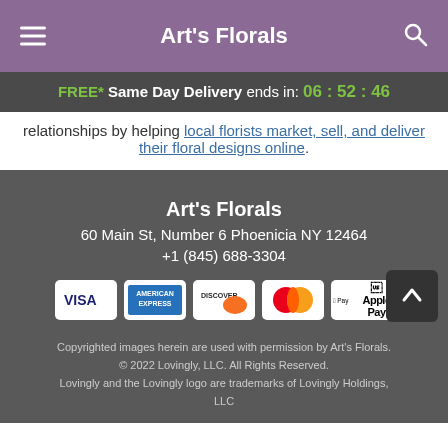Art's Florals
FREE* Same Day Delivery ends in: 06 : 52 : 46
relationships by helping local florists market, sell, and deliver their floral designs online.
Art's Florals
60 Main St, Number 6 Phoenicia NY 12464
+1 (845) 688-3304
[Figure (other): Payment method icons: Visa, American Express, Discover, Mastercard, Apple Pay]
Copyrighted images herein are used with permission by Art's Florals. © 2022 Lovingly, LLC. All Rights Reserved. Lovingly and the Lovingly logo are trademarks of Lovingly Holdings, LLC